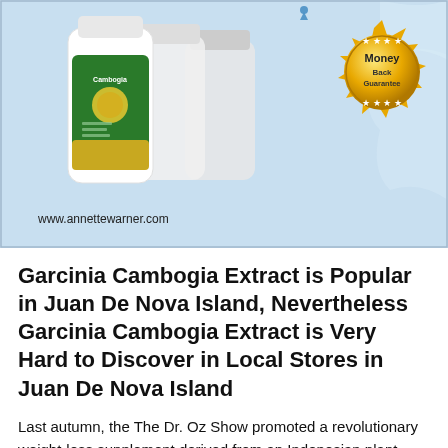[Figure (photo): Advertisement banner showing Garcinia Cambogia supplement bottles on a light blue background with a gold Money Back Guarantee badge and website URL www.annettewarner.com]
Garcinia Cambogia Extract is Popular in Juan De Nova Island, Nevertheless Garcinia Cambogia Extract is Very Hard to Discover in Local Stores in Juan De Nova Island
Last autumn, the The Dr. Oz Show promoted a revolutionary weight-loss supplement derived from an Indonesian plant telephone call garcinia cambogia. And also although the medical science community is still uncertain about the "breakthrough" diet claims, the over-the-counter supplement's popularity has since exploded. But a new record shows that most garcinia cambogia pills sold online or